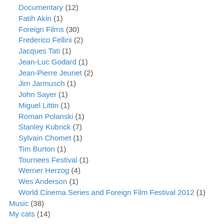Documentary (12)
Fatih Akin (1)
Foreign Films (30)
Frederico Fellini (2)
Jacques Tati (1)
Jean-Luc Godard (1)
Jean-Pierre Jeunet (2)
Jim Jarmusch (1)
John Sayer (1)
Miguel Littin (1)
Roman Polanski (1)
Stanley Kubrick (7)
Sylvain Chomet (1)
Tim Burton (1)
Tournees Festival (1)
Werner Herzog (4)
Wes Anderson (1)
World Cinema Series and Foreign Film Festival 2012 (1)
Music (38)
My cats (14)